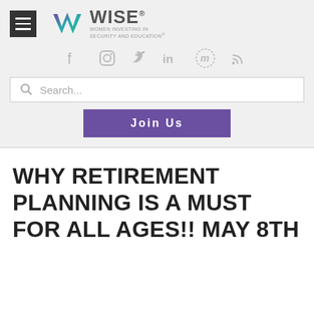[Figure (logo): WISE – Women Investing in Security and Education logo with stylized W icon and hamburger menu button]
[Figure (infographic): Social media icons row: Facebook, Instagram, Twitter, LinkedIn, Meetup, RSS]
Search...
Join Us
WHY RETIREMENT PLANNING IS A MUST FOR ALL AGES!! MAY 8TH